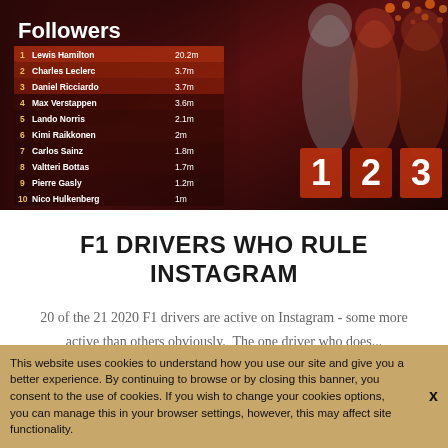[Figure (infographic): F1 Instagram followers leaderboard infographic showing top 10 F1 drivers by follower count, with podium photo of 3 drivers (Hamilton, Leclerc, Ricciardo) on a dark red background with positions 1, 2, 3.]
F1 DRIVERS WHO RULE INSTAGRAM
20 of the 21 2020 F1 drivers are active on Instagram - some more active than others obviously.  The one driver who does...
This website uses cookies to understand how you use our site and give you a better experience. By continuing to browse or by closing this banner, you consent to the use of cookies. If you wish to change your cookies options, you can manage this in your browser settings, however, this may affect site functionality.